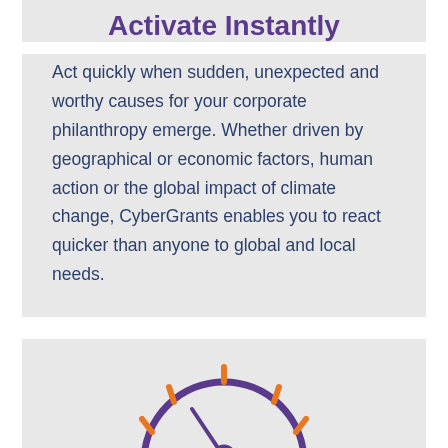Activate Instantly
Act quickly when sudden, unexpected and worthy causes for your corporate philanthropy emerge. Whether driven by geographical or economic factors, human action or the global impact of climate change, CyberGrants enables you to react quicker than anyone to global and local needs.
[Figure (illustration): Speedometer/gauge icon with purple arc and orange dashes indicating speed, with a pointer needle, rendered as a line icon]
Deliver immediately